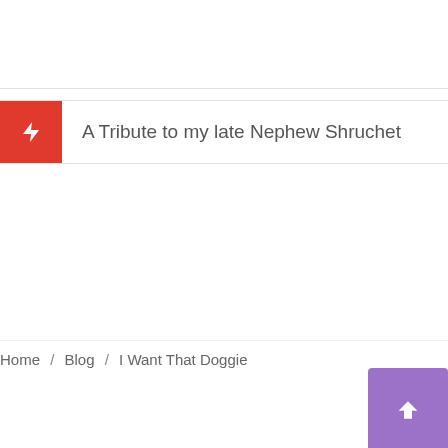A Tribute to my late Nephew Shruchet
Home / Blog / I Want That Doggie